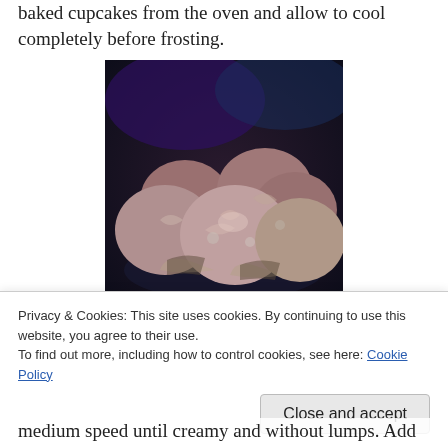baked cupcakes from the oven and allow to cool completely before frosting.
[Figure (photo): Close-up photo of chocolate frosted cupcakes on a dark background, showing swirled dark chocolate frosting on multiple cupcakes in cupcake liners.]
Privacy & Cookies: This site uses cookies. By continuing to use this website, you agree to their use.
To find out more, including how to control cookies, see here: Cookie Policy
Close and accept
medium speed until creamy and without lumps. Add